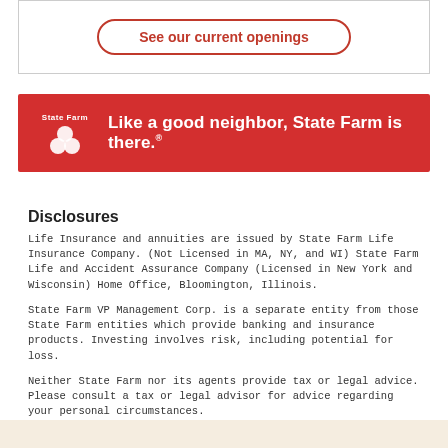[Figure (other): Button with red border reading 'See our current openings']
[Figure (logo): State Farm red banner advertisement with logo and slogan: 'Like a good neighbor, State Farm is there.']
Disclosures
Life Insurance and annuities are issued by State Farm Life Insurance Company. (Not Licensed in MA, NY, and WI) State Farm Life and Accident Assurance Company (Licensed in New York and Wisconsin) Home Office, Bloomington, Illinois.
State Farm VP Management Corp. is a separate entity from those State Farm entities which provide banking and insurance products. Investing involves risk, including potential for loss.
Neither State Farm nor its agents provide tax or legal advice. Please consult a tax or legal advisor for advice regarding your personal circumstances.